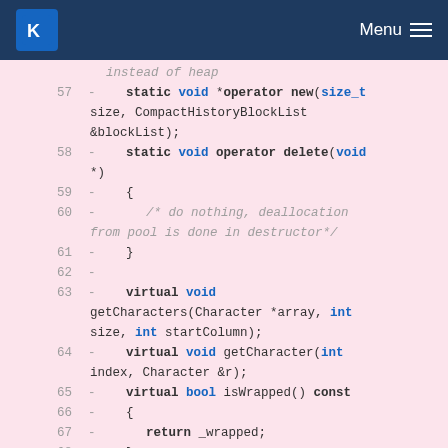KDE Menu
[Figure (screenshot): Code diff view showing C++ class methods with line numbers 57-68 on a pink/red background, displaying deleted lines (marked with -) including static void *operator new, static void operator delete, virtual void getCharacters, virtual void getCharacter, virtual bool isWrapped methods]
instead of heap
57 - static void *operator new(size_t size, CompactHistoryBlockList &blockList);
58 - static void operator delete(void *)
59 - {
60 - /* do nothing, deallocation from pool is done in destructor*/
61 - }
62 -
63 - virtual void getCharacters(Character *array, int size, int startColumn);
64 - virtual void getCharacter(int index, Character &r);
65 - virtual bool isWrapped() const
66 - {
67 - return _wrapped;
68 - }